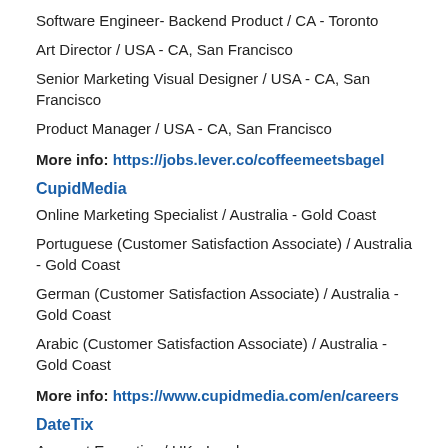Software Engineer- Backend Product / CA - Toronto
Art Director / USA - CA, San Francisco
Senior Marketing Visual Designer / USA - CA, San Francisco
Product Manager / USA - CA, San Francisco
More info: https://jobs.lever.co/coffeemeetsbagel
CupidMedia
Online Marketing Specialist / Australia - Gold Coast
Portuguese (Customer Satisfaction Associate) / Australia - Gold Coast
German (Customer Satisfaction Associate) / Australia - Gold Coast
Arabic (Customer Satisfaction Associate) / Australia - Gold Coast
More info: https://www.cupidmedia.com/en/careers
DateTix
Account Executive / UK - London
More info: https://bit.ly/2LcJxpf
Dating.com Group